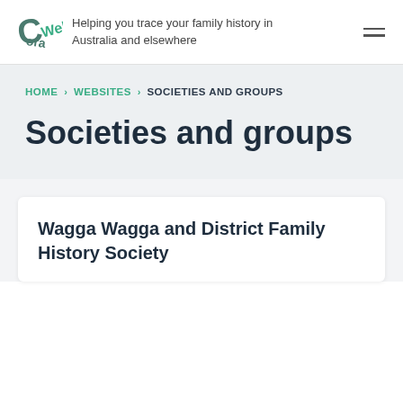Helping you trace your family history in Australia and elsewhere
HOME > WEBSITES > SOCIETIES AND GROUPS
Societies and groups
Wagga Wagga and District Family History Society